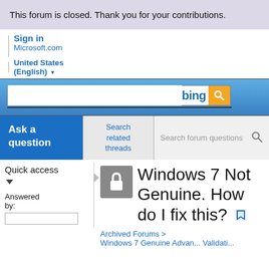This forum is closed. Thank you for your contributions.
Sign in
Microsoft.com
United States (English)
[Figure (screenshot): Bing search bar with orange search button]
Ask a question
Search related threads
Search forum questions
Quick access
Answered by:
Windows 7 Not Genuine. How do I fix this?
Archived Forums >